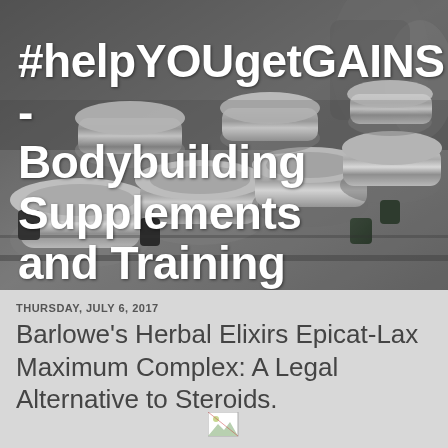[Figure (photo): Close-up photo of chrome/silver dumbbells racked in a gym with blurred background and people]
#helpYOUgetGAINS - Bodybuilding Supplements and Training
THURSDAY, JULY 6, 2017
Barlowe's Herbal Elixirs Epicat-Lax Maximum Complex: A Legal Alternative to Steroids.
[Figure (illustration): Broken image placeholder icon]